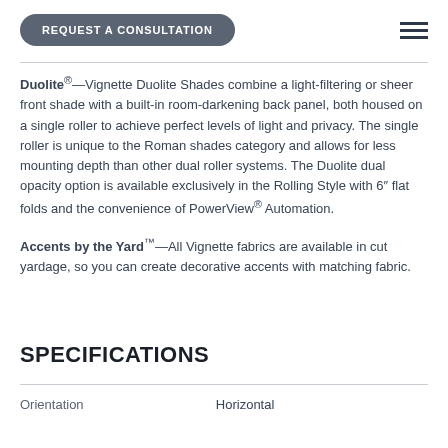REQUEST A CONSULTATION
Duolite®—Vignette Duolite Shades combine a light-filtering or sheer front shade with a built-in room-darkening back panel, both housed on a single roller to achieve perfect levels of light and privacy. The single roller is unique to the Roman shades category and allows for less mounting depth than other dual roller systems. The Duolite dual opacity option is available exclusively in the Rolling Style with 6″ flat folds and the convenience of PowerView® Automation.
Accents by the Yard™—All Vignette fabrics are available in cut yardage, so you can create decorative accents with matching fabric.
SPECIFICATIONS
| Orientation | Horizontal |
| --- | --- |